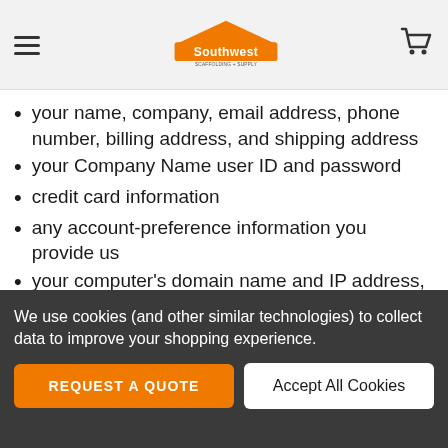Southwest Scaffolding + Supply
your name, company, email address, phone number, billing address, and shipping address
your Company Name user ID and password
credit card information
any account-preference information you provide us
your computer's domain name and IP address, indicating where your computer is located on the Internet
session data for your login session, so that our computer can 'talk' to yours while you are logged in
We use cookies (and other similar technologies) to collect data to improve your shopping experience.
REQUEST A QUOTE | Accept All Cookies